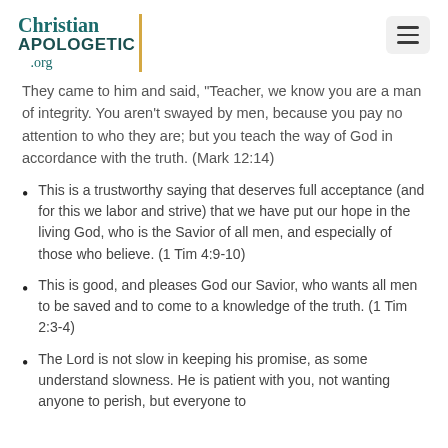Christian APOLOGETIC .org
They came to him and said, "Teacher, we know you are a man of integrity. You aren't swayed by men, because you pay no attention to who they are; but you teach the way of God in accordance with the truth. (Mark 12:14)
This is a trustworthy saying that deserves full acceptance (and for this we labor and strive) that we have put our hope in the living God, who is the Savior of all men, and especially of those who believe. (1 Tim 4:9-10)
This is good, and pleases God our Savior, who wants all men to be saved and to come to a knowledge of the truth. (1 Tim 2:3-4)
The Lord is not slow in keeping his promise, as some understand slowness. He is patient with you, not wanting anyone to perish, but everyone to